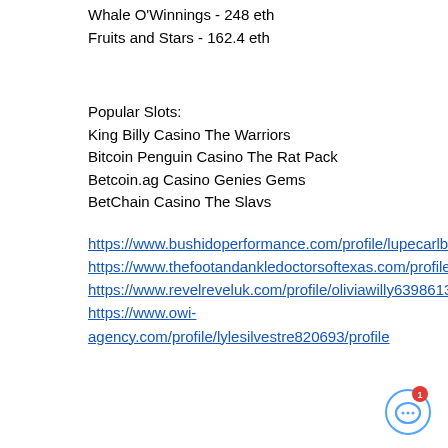Whale O'Winnings - 248 eth
Fruits and Stars - 162.4 eth
Popular Slots:
King Billy Casino The Warriors
Bitcoin Penguin Casino The Rat Pack
Betcoin.ag Casino Genies Gems
BetChain Casino The Slavs
https://www.bushidoperformance.com/profile/lupecarlberg17670244/profile https://www.thefootandankledoctorsoftexas.com/profile/williamssaffold14723695/profile https://www.revelreveluk.com/profile/oliviawilly6398613/profile https://www.owi-agency.com/profile/lylesilvestre820693/profile